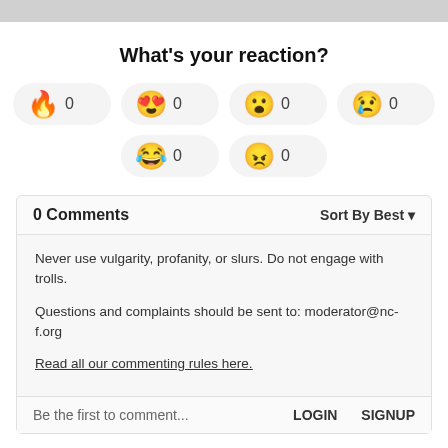What's your reaction?
[Figure (infographic): Six emoji reaction buttons each showing count 0: fire, heart-eyes, surprised, crying, laughing-crying, angry]
0 Comments    Sort By Best ▼
Never use vulgarity, profanity, or slurs. Do not engage with trolls.

Questions and complaints should be sent to: moderator@nc-f.org

Read all our commenting rules here.
Be the first to comment...    LOGIN  SIGNUP